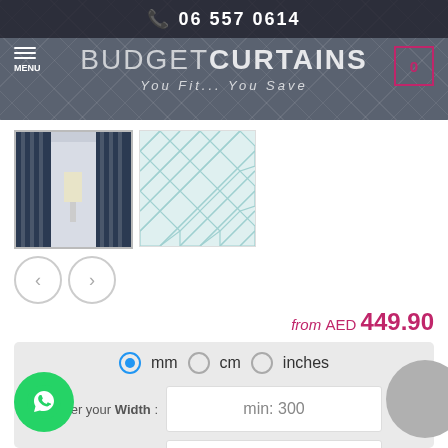06 557 0614 | BUDGET CURTAINS — You Fit... You Save
[Figure (screenshot): Product thumbnail 1: navy and white striped curtains]
[Figure (screenshot): Product thumbnail 2: geometric diamond pattern fabric swatch]
from AED 449.90
mm  cm  inches
Enter your Width :  min: 300  mm
Enter your Height :  min: 300  mm